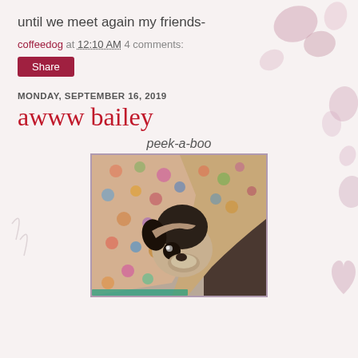until we meet again my friends-
coffeedog at 12:10 AM    4 comments:
Share
MONDAY, SEPTEMBER 16, 2019
awww bailey
peek-a-boo
[Figure (photo): A small dog peeking out from under a colorful knitted/crocheted blanket, with only its face and one eye visible.]